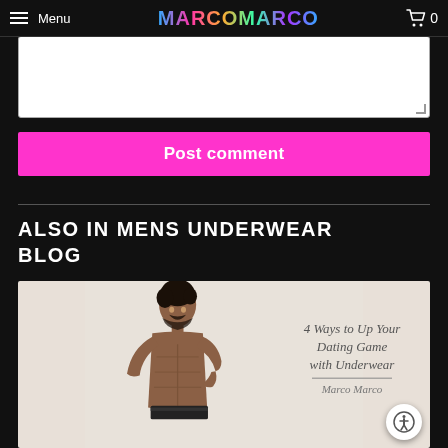Menu | MARCO MARCO | 0
[Figure (screenshot): Empty white comment textarea input box with resize handle in bottom-right corner]
Post comment
ALSO IN MENS UNDERWEAR BLOG
[Figure (photo): Photo of a muscular shirtless man posing with text overlay reading '4 Ways to Up Your Dating Game with Underwear - Marco Marco']